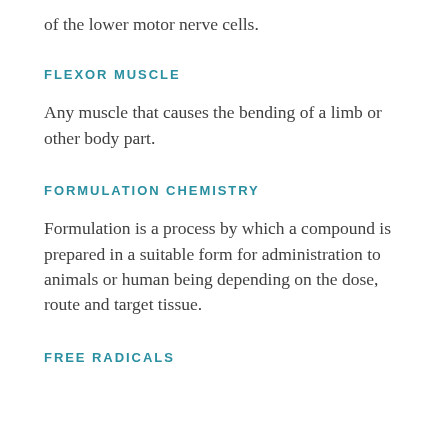of the lower motor nerve cells.
FLEXOR MUSCLE
Any muscle that causes the bending of a limb or other body part.
FORMULATION CHEMISTRY
Formulation is a process by which a compound is prepared in a suitable form for administration to animals or human being depending on the dose, route and target tissue.
FREE RADICALS